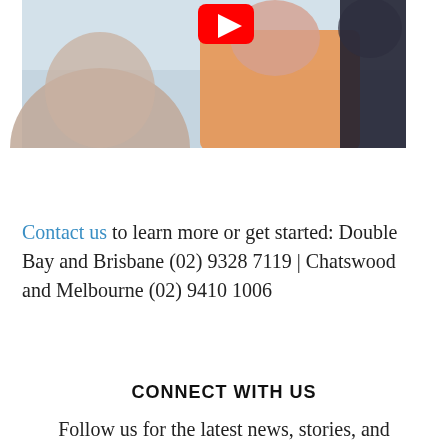[Figure (photo): Photo of two people outdoors with cloudy sky background, with a YouTube play button icon overlay at the top center]
Contact us to learn more or get started: Double Bay and Brisbane (02) 9328 7119 | Chatswood and Melbourne (02) 9410 1006
CONNECT WITH US
Follow us for the latest news, stories, and